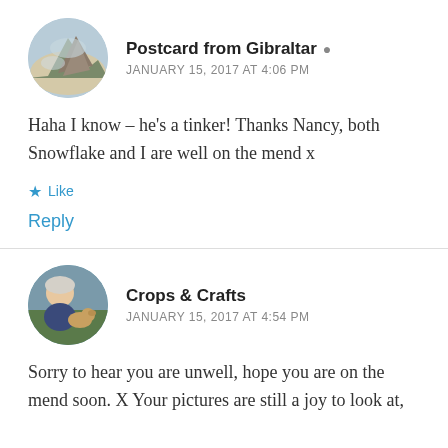Postcard from Gibraltar
JANUARY 15, 2017 AT 4:06 PM
Haha I know – he's a tinker! Thanks Nancy, both Snowflake and I are well on the mend x
Like
Reply
Crops & Crafts
JANUARY 15, 2017 AT 4:54 PM
Sorry to hear you are unwell, hope you are on the mend soon. X Your pictures are still a joy to look at,